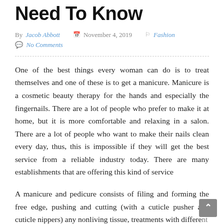Need To Know
By Jacob Abbott  November 4, 2019  Fashion
No Comments
One of the best things every woman can do is to treat themselves and one of these is to get a manicure. Manicure is a cosmetic beauty therapy for the hands and especially the fingernails. There are a lot of people who prefer to make it at home, but it is more comfortable and relaxing in a salon. There are a lot of people who want to make their nails clean every day, thus, this is impossible if they will get the best service from a reliable industry today. There are many establishments that are offering this kind of service
A manicure and pedicure consists of filing and forming the free edge, pushing and cutting (with a cuticle pusher and cuticle nippers) any nonliving tissue, treatments with different